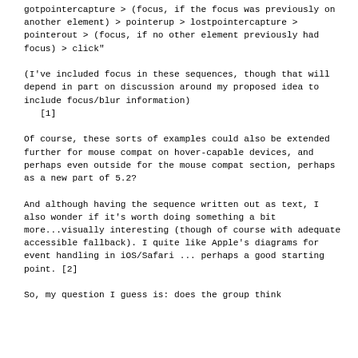gotpointercapture > (focus, if the focus was previously on another element) > pointerup > lostpointercapture > pointerout > (focus, if no other element previously had focus) > click"

(I've included focus in these sequences, though that will depend in part on discussion around my proposed idea to include focus/blur information)
   [1]

Of course, these sorts of examples could also be extended further for mouse compat on hover-capable devices, and perhaps even outside for the mouse compat section, perhaps as a new part of 5.2?

And although having the sequence written out as text, I also wonder if it's worth doing something a bit more...visually interesting (though of course with adequate accessible fallback). I quite like Apple's diagrams for event handling in iOS/Safari ... perhaps a good starting point. [2]

So, my question I guess is: does the group think